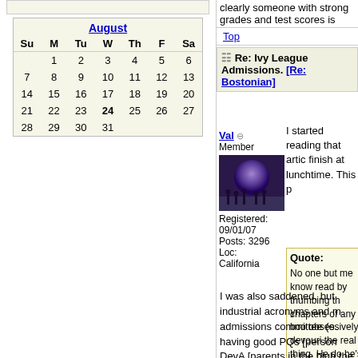| Su | M | Tu | W | Th | F | Sa |
| --- | --- | --- | --- | --- | --- | --- |
|  | 1 | 2 | 3 | 4 | 5 | 6 |
| 7 | 8 | 9 | 10 | 11 | 12 | 13 |
| 14 | 15 | 16 | 17 | 18 | 19 | 20 |
| 21 | 22 | 23 | 24 | 25 | 26 | 27 |
| 28 | 29 | 30 | 31 |  |  |  |
clearly someone with strong grades and test scores is
Top
Re: Ivy League Admissions. [Re: Bostonian]
Val
Member
Registered: 09/01/07
Posts: 3296
Loc: California
I started reading that artic finish at lunchtime. This p
Quote:
No one but me know read by thumbing th chapters of any boo obsessively devouri the real thing. He do he's incurious, but b bigger social reward about books than fo them.
I was also saddened, but industrial acronyms and m admissions committee (e. having good PQs [person DevA [parents in the high the university]).